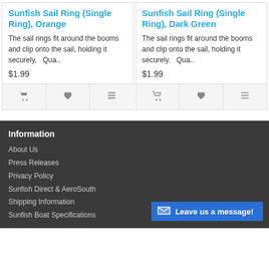Sunfish Sail Ring (Single Ring), Orange
The sail rings fit around the booms and clip onto the sail, holding it securely. Qua..
$1.99
Sunfish Sail Ring (Single Ring), Dark Green
The sail rings fit around the booms and clip onto the sail, holding it securely. Qua..
$1.99
Information
About Us
Press Releases
Privacy Policy
Sunfish Direct & AeroSouth
Shipping Information
Sunfish Boat Specifications
Leave us a message!